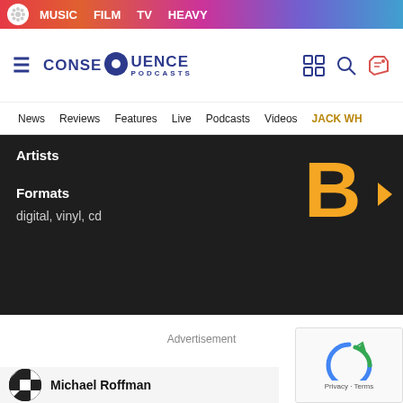MUSIC   FILM   TV   HEAVY
[Figure (logo): Consequence Podcasts logo with gear icon]
News   Reviews   Features   Live   Podcasts   Videos   JACK WH
Artists
Formats
digital, vinyl, cd
[Figure (logo): B logo in orange on dark background]
Advertisement
Advertisement
Michael Roffman